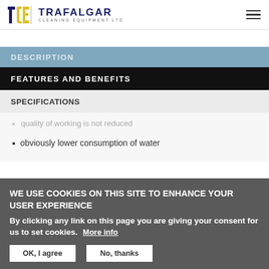TCE | TRAFALGAR CLEANING EQUIPMENT LTD
DESCRIPTION
FEATURES AND BENEFITS
SPECIFICATIONS
quality of working is not reduced
obviously lower consumption of water
WE USE COOKIES ON THIS SITE TO ENHANCE YOUR USER EXPERIENCE
By clicking any link on this page you are giving your consent for us to set cookies.  More info
OK, I agree   No, thanks